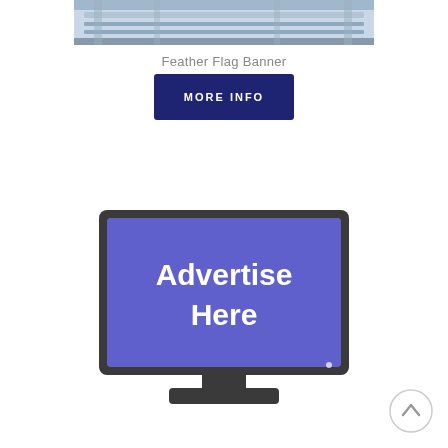[Figure (photo): Partial image of a feather flag banner product at the top of the page]
Feather Flag Banner
[Figure (other): Dark navy blue button with white uppercase text reading MORE INFO]
[Figure (illustration): Illustration of a computer monitor with a purple/blue screen displaying the text 'Advertise Here' in white, with a dark gray monitor frame and stand. A circular arrow-up button is partially visible in the bottom right corner.]